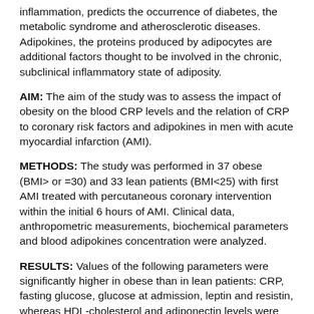inflammation, predicts the occurrence of diabetes, the metabolic syndrome and atherosclerotic diseases. Adipokines, the proteins produced by adipocytes are additional factors thought to be involved in the chronic, subclinical inflammatory state of adiposity.
AIM: The aim of the study was to assess the impact of obesity on the blood CRP levels and the relation of CRP to coronary risk factors and adipokines in men with acute myocardial infarction (AMI).
METHODS: The study was performed in 37 obese (BMI> or =30) and 33 lean patients (BMI<25) with first AMI treated with percutaneous coronary intervention within the initial 6 hours of AMI. Clinical data, anthropometric measurements, biochemical parameters and blood adipokines concentration were analyzed.
RESULTS: Values of the following parameters were significantly higher in obese than in lean patients: CRP, fasting glucose, glucose at admission, leptin and resistin, whereas HDL-cholesterol and adiponectin levels were lower. In univariate